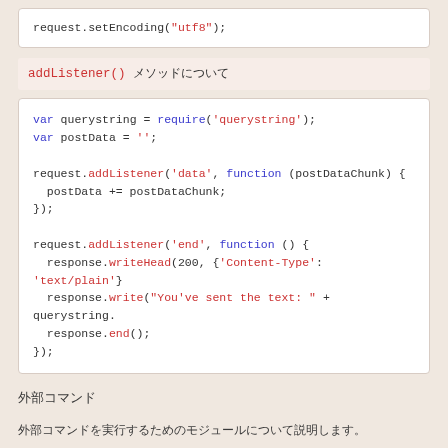request.setEncoding("utf8");
addListener() メソッドについて
var querystring = require('querystring');
var postData = '';

request.addListener('data', function (postDataChunk) {
  postData += postDataChunk;
});

request.addListener('end', function () {
  response.writeHead(200, {'Content-Type': 'text/plain'}
  response.write("You've sent the text: " + querystring.
  response.end();
});
外部コマンド
外部コマンドを実行するためのモジュールについて説明します。
var exec = require("child_process").exec;